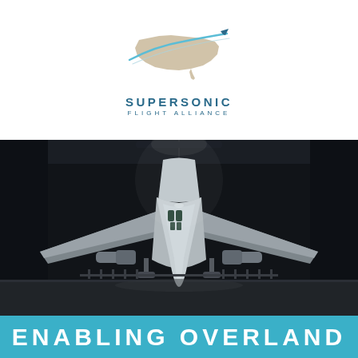[Figure (logo): Supersonic Flight Alliance logo with USA map silhouette and aircraft swoosh lines, teal and sand colors]
SUPERSONIC
FLIGHT ALLIANCE
[Figure (photo): Front-on photograph of a Concorde supersonic aircraft in a dark hangar, silver nose pointing toward camera with wings spread wide]
ENABLING OVERLAND